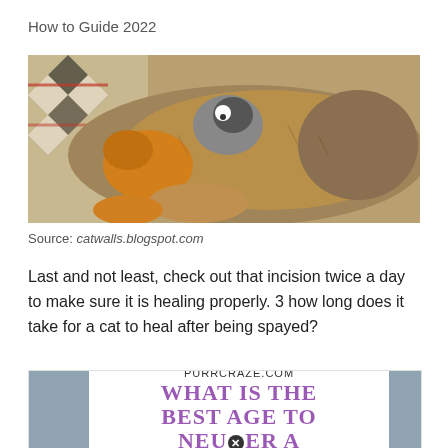How to Guide 2022
[Figure (photo): A mother cat lying on a patterned rug with kittens nursing and climbing on her.]
Source: catwalls.blogspot.com
Last and not least, check out that incision twice a day to make sure it is healing properly. 3 how long does it take for a cat to heal after being spayed?
[Figure (screenshot): A partially visible promotional image from purrcraze.com showing text 'WHAT IS THE BEST AGE TO NEUTER A' in large purple letters on white background, with gray side panels and a close button overlay.]